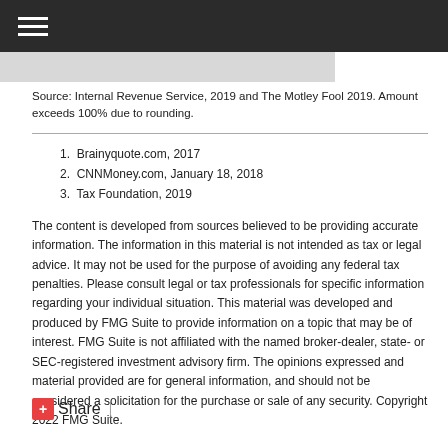≡ (navigation menu icon)
Source: Internal Revenue Service, 2019 and The Motley Fool 2019. Amount exceeds 100% due to rounding.
1. Brainyquote.com, 2017
2. CNNMoney.com, January 18, 2018
3. Tax Foundation, 2019
The content is developed from sources believed to be providing accurate information. The information in this material is not intended as tax or legal advice. It may not be used for the purpose of avoiding any federal tax penalties. Please consult legal or tax professionals for specific information regarding your individual situation. This material was developed and produced by FMG Suite to provide information on a topic that may be of interest. FMG Suite is not affiliated with the named broker-dealer, state- or SEC-registered investment advisory firm. The opinions expressed and material provided are for general information, and should not be considered a solicitation for the purchase or sale of any security. Copyright 2022 FMG Suite.
Share |